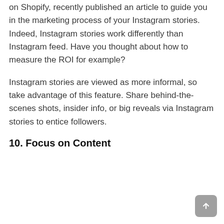on Shopify, recently published an article to guide you in the marketing process of your Instagram stories. Indeed, Instagram stories work differently than Instagram feed. Have you thought about how to measure the ROI for example?
Instagram stories are viewed as more informal, so take advantage of this feature. Share behind-the-scenes shots, insider info, or big reveals via Instagram stories to entice followers.
10. Focus on Content